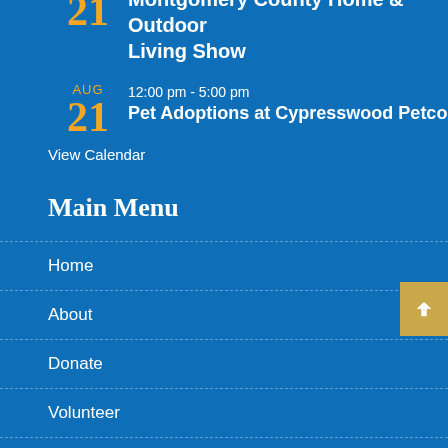21 Montgomery County Home & Outdoor Living Show
AUG 21 12:00 pm - 5:00 pm Pet Adoptions at Cypresswood Petco
View Calendar
Main Menu
Home
About
Donate
Volunteer
Adopt